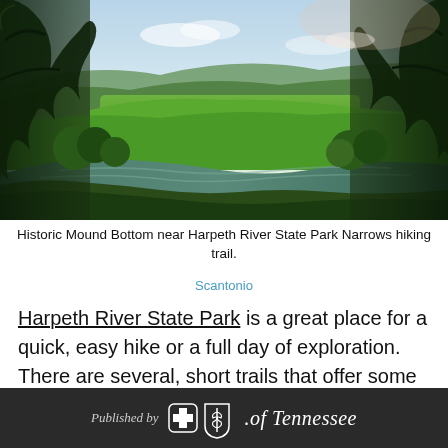[Figure (photo): Aerial/elevated view of Mound Bottom near Harpeth River State Park Narrows hiking trail, showing a river bend with green fields and wooded hills in background under a blue sky with clouds]
Historic Mound Bottom near Harpeth River State Park Narrows hiking trail.
Scantonio
Harpeth River State Park is a great place for a quick, easy hike or a full day of exploration. There are several, short trails that offer some beautiful views but one that stands out among them is The Narrows. The bluff offers one of the best views of the Harpeth and...
Published by BlueCross BlueShield of Tennessee